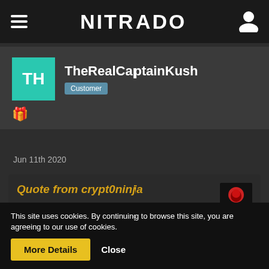NITRADO
TheRealCaptainKush
Customer
Jun 11th 2020
Quote from crypt0ninja
Just spoke to Nitrado Support on Skype. They have escalated my ticket and the advisor said he saw the same issue yesterday but will need to escalate. Guess its a waiting game. I do hope they extend the rental time though as I've been
This site uses cookies. By continuing to browse this site, you are agreeing to our use of cookies.